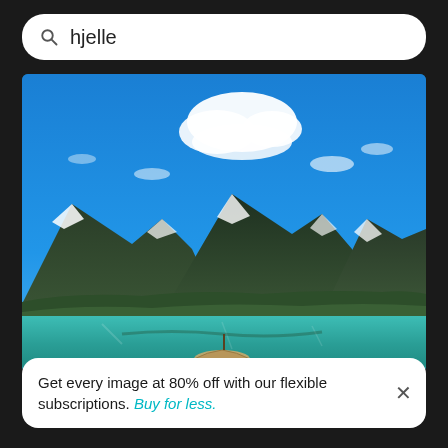hjelle
[Figure (photo): Scenic Norwegian fjord landscape showing turquoise-green lake water with a small boat in the foreground, surrounded by steep green mountains with snow-capped peaks under a vivid blue sky with white clouds. Location is Hjelle, Norway.]
Get every image at 80% off with our flexible subscriptions. Buy for less.